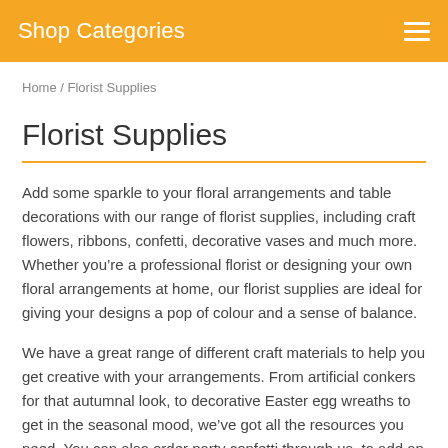Shop Categories
Home / Florist Supplies
Florist Supplies
Add some sparkle to your floral arrangements and table decorations with our range of florist supplies, including craft flowers, ribbons, confetti, decorative vases and much more. Whether you’re a professional florist or designing your own floral arrangements at home, our florist supplies are ideal for giving your designs a pop of colour and a sense of balance.
We have a great range of different craft materials to help you get creative with your arrangements. From artificial conkers for that autumnal look, to decorative Easter egg wreaths to get in the seasonal mood, we’ve got all the resources you need. You can also order party confetti through us, to add an extra sparkle to the space around your floral creation. Confetti brings a sprinkling of